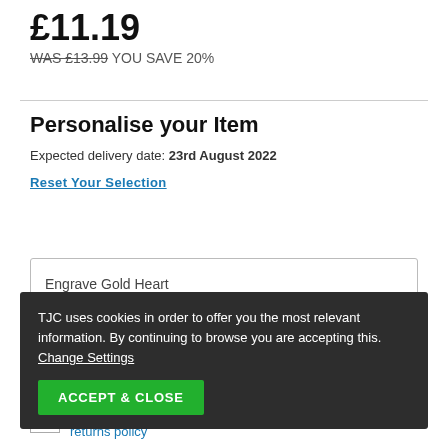£11.19
WAS £13.99 YOU SAVE 20%
Personalise your Item
Expected delivery date: 23rd August 2022
Reset Your Selection
Engrave Gold Heart
TJC uses cookies in order to offer you the most relevant information. By continuing to browse you are accepting this. Change Settings
ACCEPT & CLOSE
...g...heart
I have reviewed the details of my personalised item & returns policy